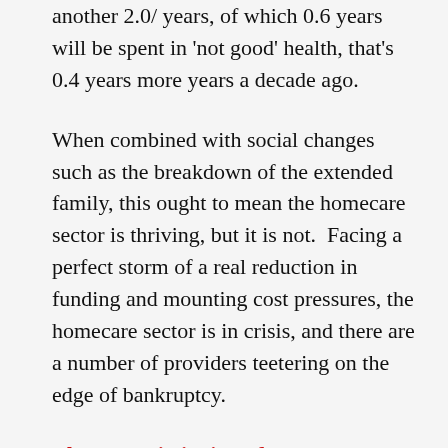another 2.0/ years, of which 0.6 years will be spent in 'not good' health, that's 0.4 years more years a decade ago.
When combined with social changes such as the breakdown of the extended family, this ought to mean the homecare sector is thriving, but it is not.  Facing a perfect storm of a real reduction in funding and mounting cost pressures, the homecare sector is in crisis, and there are a number of providers teetering on the edge of bankruptcy.
The Commissioning of Homecare
The majority of providers are commercial organisations.  They operate in a market dominated by state purchasers, primarily local authorities and commissioning bodies.